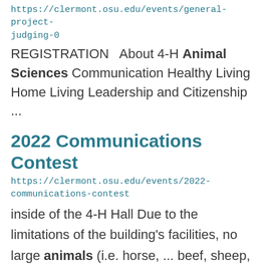https://clermont.osu.edu/events/general-project-judging-0
REGISTRATION   About 4-H Animal Sciences Communication Healthy Living Home Living Leadership and Citizenship ...
2022 Communications Contest
https://clermont.osu.edu/events/2022-communications-contest
inside of the 4-H Hall Due to the limitations of the building's facilities, no large animals (i.e. horse, ... beef, sheep, goat, dairy or hogs over 20 pounds) may be used in a 4-H presentation. Members should use ... models, photographs or